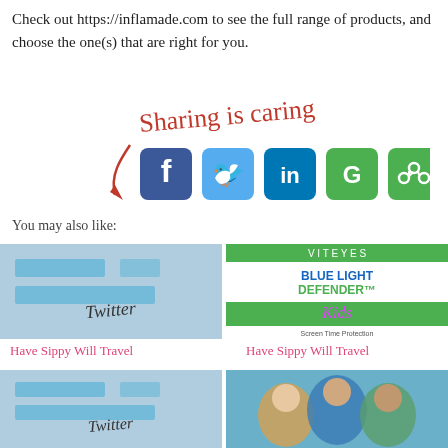Check out https://inflamade.com to see the full range of products, and choose the one(s) that are right for you.
[Figure (infographic): Sharing is caring graphic with a red cursive text and arrow pointing to social media icon buttons: Facebook (blue), Twitter (light blue), LinkedIn (blue), Google+ (green), and a green share icon.]
You may also like:
[Figure (photo): Blurred image showing a Twitter-related graphic with Twitter logo colors and handwritten Twitter text]
[Figure (photo): Vitetes Blue Light Defender Kids product image - Screen Time Protection supplement packaging]
Have Sippy Will Travel
Have Sippy Will Travel
[Figure (photo): Blurred image showing a Twitter-related graphic, similar to above]
[Figure (photo): Photo of elderly people together outdoors]